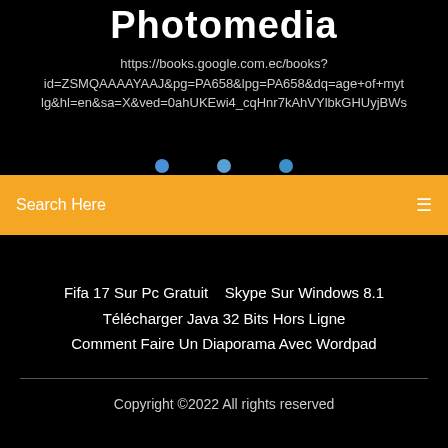Photomedia
https://books.google.com.ec/books?id=ZSMQAAAAYAAJ&pg=PA658&lpg=PA658&dq=age+of+mythology+lg&hl=en&sa=X&ved=0ahUKEwi4_cqHnr7kAhVYlbkGHUyjBWs
Search Here
Fifa 17 Sur Pc Gratuit   Skype Sur Windows 8.1
Télécharger Java 32 Bits Hors Ligne
Comment Faire Un Diaporama Avec Wordpad
Copyright ©2022 All rights reserved